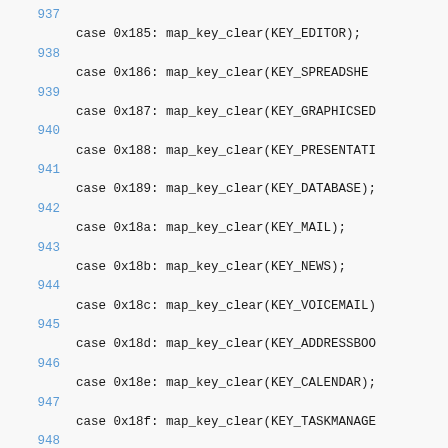937
	case 0x185: map_key_clear(KEY_EDITOR);
938
	case 0x186: map_key_clear(KEY_SPREADSHEET);
939
	case 0x187: map_key_clear(KEY_GRAPHICSEDITOR);
940
	case 0x188: map_key_clear(KEY_PRESENTATION);
941
	case 0x189: map_key_clear(KEY_DATABASE);
942
	case 0x18a: map_key_clear(KEY_MAIL);
943
	case 0x18b: map_key_clear(KEY_NEWS);
944
	case 0x18c: map_key_clear(KEY_VOICEMAIL);
945
	case 0x18d: map_key_clear(KEY_ADDRESSBOOK);
946
	case 0x18e: map_key_clear(KEY_CALENDAR);
947
	case 0x18f: map_key_clear(KEY_TASKMANAGER);
948
	case 0x190: map_key_clear(KEY_JOURNAL);
949